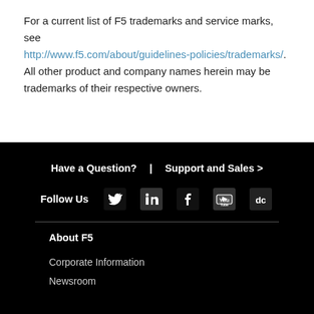For a current list of F5 trademarks and service marks, see http://www.f5.com/about/guidelines-policies/trademarks/. All other product and company names herein may be trademarks of their respective owners.
Have a Question? | Support and Sales > Follow Us [Twitter] [LinkedIn] [Facebook] [YouTube] [dc] About F5 Corporate Information Newsroom